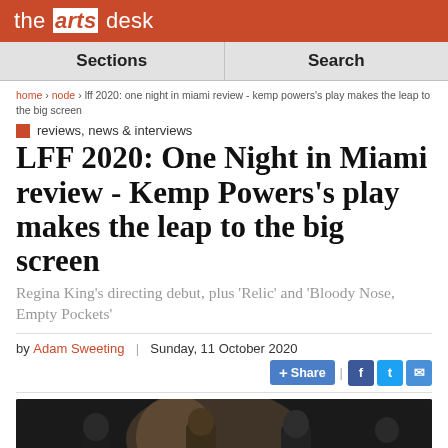the arts desk
Sections | Search
home > node > lff 2020: one night in miami review - kemp powers's play makes the leap to the big screen
reviews, news & interviews
LFF 2020: One Night in Miami review - Kemp Powers's play makes the leap to the big screen
Regina King's directing debut, plus 'Relic' and 'Bloody Nose, Empty Pockets'
by Adam Sweeting | Sunday, 11 October 2020
[Figure (photo): A film still showing three men, likely from the film One Night in Miami, in a dimly lit setting]